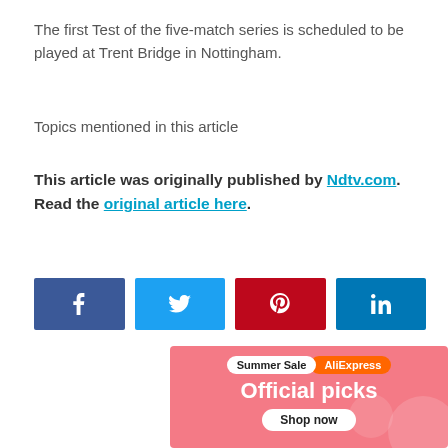The first Test of the five-match series is scheduled to be played at Trent Bridge in Nottingham.
Topics mentioned in this article
This article was originally published by Ndtv.com. Read the original article here.
[Figure (other): Social media share buttons: Facebook (blue), Twitter (light blue), Pinterest (red), LinkedIn (dark blue)]
[Figure (other): AliExpress Summer Sale advertisement banner with pink background, showing 'Official picks' text and 'Shop now' button]